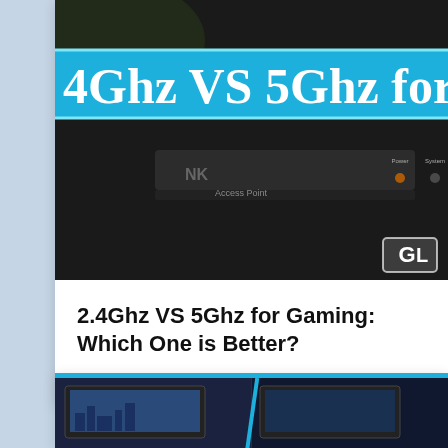[Figure (photo): Hero image showing a network router/access point with a blue banner overlay reading '4Ghz VS 5Ghz for Gaming' and a GL watermark logo in the bottom right corner]
2.4Ghz VS 5Ghz for Gaming: Which One is Better?
By Julie Jeffrey • May 19, 2022
[Figure (photo): Partial view of two comparison images at the bottom of the page, with a blue diagonal divider line between them]